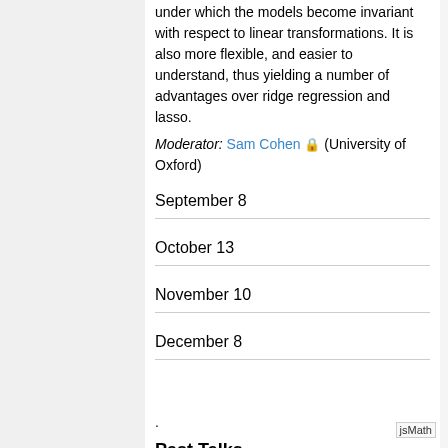under which the models become invariant with respect to linear transformations. It is also more flexible, and easier to understand, thus yielding a number of advantages over ridge regression and lasso.
Moderator: Sam Cohen 🔒 (University of Oxford)
September 8
October 13
November 10
December 8
.
Past Talks